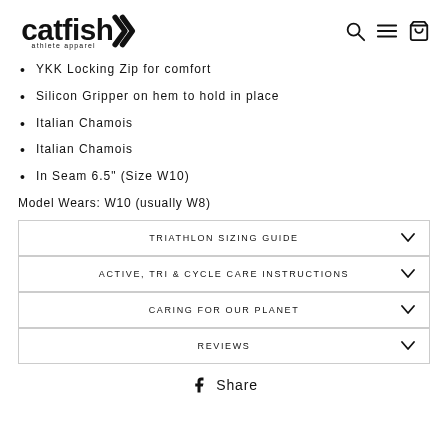catfish athlete apparel
YKK Locking Zip for comfort
Silicon Gripper on hem to hold in place
Italian Chamois
Italian Chamois
In Seam 6.5" (Size W10)
Model Wears: W10 (usually W8)
| TRIATHLON SIZING GUIDE |
| ACTIVE, TRI & CYCLE CARE INSTRUCTIONS |
| CARING FOR OUR PLANET |
| REVIEWS |
Share